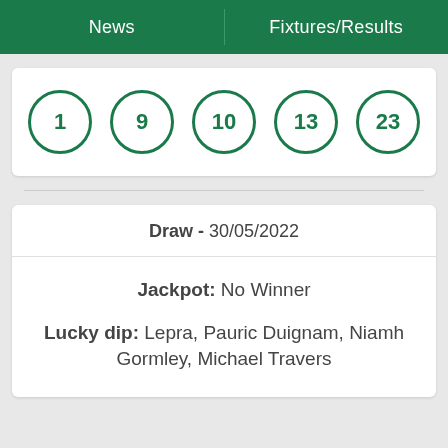News | Fixtures/Results
[Figure (other): Five lottery balls in green circles showing numbers 1, 9, 10, 13, 23]
Draw - 30/05/2022
Jackpot: No Winner
Lucky dip: Lepra, Pauric Duignam, Niamh Gormley, Michael Travers